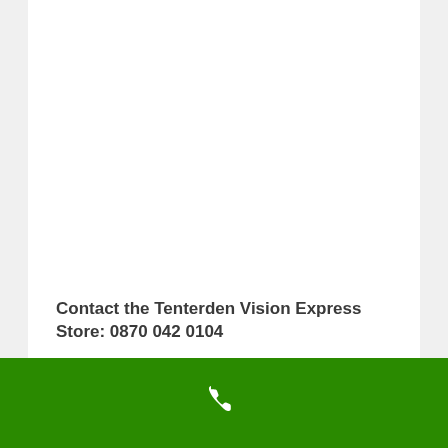Contact the Tenterden Vision Express Store: 0870 042 0104
Vision Express Tenterden General Information:
Vision Express Tenterden is a UK based